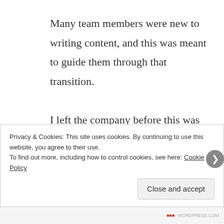Many team members were new to writing content, and this was meant to guide them through that transition.

I left the company before this was implemented, so what I'm presenting here is the final draft that I proposed before my exit. It should give you a pretty good idea of my general approach to content, at least in this
Privacy & Cookies: This site uses cookies. By continuing to use this website, you agree to their use.
To find out more, including how to control cookies, see here: Cookie Policy